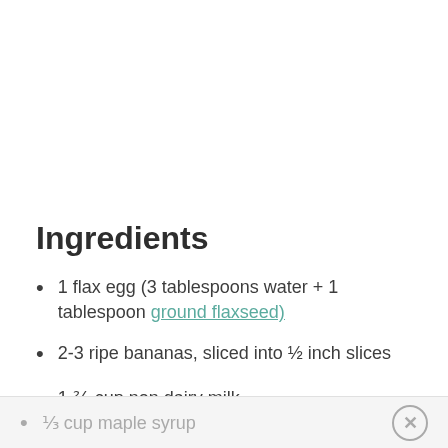Ingredients
1 flax egg (3 tablespoons water + 1 tablespoon ground flaxseed)
2-3 ripe bananas, sliced into ½ inch slices
1 ⅔ cup non dairy milk
⅓ cup maple syrup